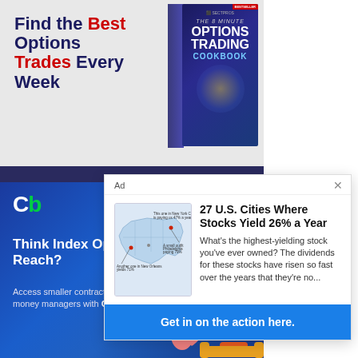[Figure (illustration): Top banner advertisement for options trading book. Text reads 'Find the Best Options Trades Every Week' with red highlighting on 'Best' and 'Trades'. Shows a book cover titled 'The 8 Minute Options Trading Cookbook'.]
[Figure (illustration): Popup advertisement overlay. Header: 'Ad' with close button. Shows a US map image. Title: '27 U.S. Cities Where Stocks Yield 26% a Year'. Body text: 'What's the highest-yielding stock you've ever owned? The dividends for these stocks have risen so fast over the years that they're no...'. CTA button: 'Get in on the action here.']
[Figure (illustration): Bottom banner advertisement for Cboe Mini Index Options. Shows 'Cb' logo with green C. Headline: 'Think Index Options are Out of Reach?' Subtext: 'Access smaller contracts with the same benefits as big money managers with Cboe Mini Index Options'. Blue background with geometric shapes and illustration of person with cat.]